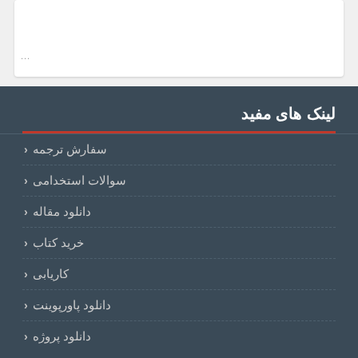[Figure (screenshot): Top white card section with partial content and dots indicator at bottom left]
لینک های مفید
سفارش ترجمه
سوالات استخدامی
دانلود مقاله
خرید کتاب
کاریابی
دانلود پاورپوینت
دانلود پروژه